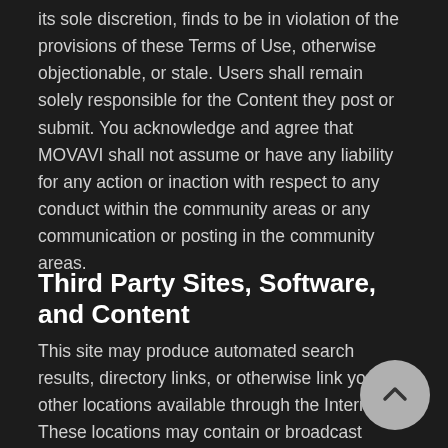its sole discretion, finds to be in violation of the provisions of these Terms of Use, otherwise objectionable, or stale. Users shall remain solely responsible for the Content they post or submit. You acknowledge and agree that MOVAVI shall not assume or have any liability for any action or inaction with respect to any conduct within the community areas or any communication or posting in the community areas.
Third Party Sites, Software, and Content
This site may produce automated search results, directory links, or otherwise link you to other locations available through the Internet. These locations may contain or broadcast information or material that some